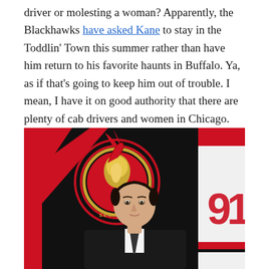driver or molesting a woman? Apparently, the Blackhawks have asked Kane to stay in the Toddlin' Town this summer rather than have him return to his favorite haunts in Buffalo. Ya, as if that's going to keep him out of trouble. I mean, I have it on good authority that there are plenty of cab drivers and women in Chicago.
[Figure (photo): Young hockey player in a white jersey with red and black trim sitting in front of an Ottawa Senators team banner/logo backdrop showing the Senators Roman warrior helmet logo and the number 91 jersey]